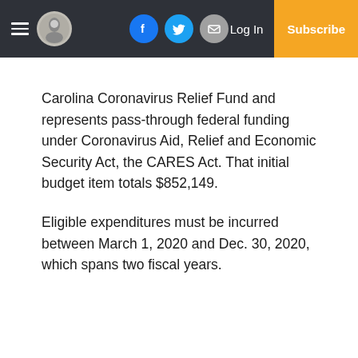Log In | Subscribe
Carolina Coronavirus Relief Fund and represents pass-through federal funding under Coronavirus Aid, Relief and Economic Security Act, the CARES Act. That initial budget item totals $852,149.
Eligible expenditures must be incurred between March 1, 2020 and Dec. 30, 2020, which spans two fiscal years.